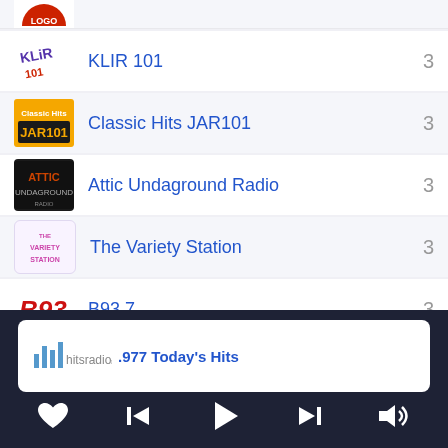KLIR 101   3
Classic Hits JAR101   3
Attic Undaground Radio   3
The Variety Station   3
B93.7   3
DARE-FM   3
.977 Today's Hits
[Figure (screenshot): Mobile radio app UI showing a list of radio stations with logos and a now-playing bar at the bottom with playback controls]